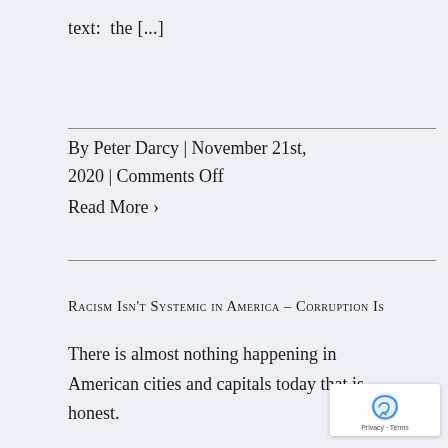text:  the [...]
By Peter Darcy | November 21st, 2020 | Comments Off
Read More ›
Racism Isn't Systemic in America – Corruption Is
There is almost nothing happening in American cities and capitals today that is honest.
The claim [...]